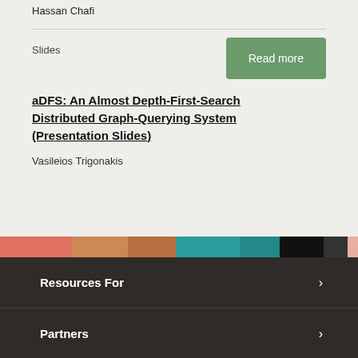Hassan Chafi
Slides
aDFS: An Almost Depth-First-Search Distributed Graph-Querying System (Presentation Slides)
Vasileios Trigonakis
Resources For
Partners